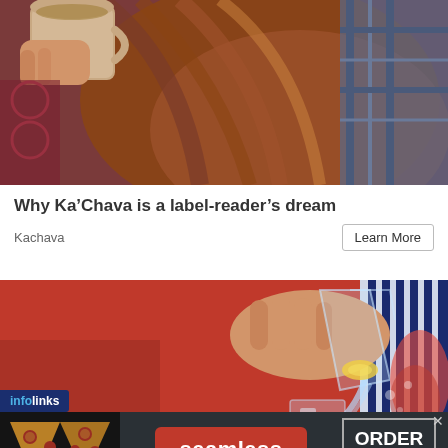[Figure (photo): Person with long auburn hair drinking from a tan/beige ceramic mug, wearing a plaid shirt, warm indoor background with red/burgundy pattern]
Why Ka’Chava is a label-reader’s dream
Kachava
Learn More
[Figure (photo): Person in red clothing and striped sleeve pouring water from a clear pitcher into a glass with ice and lemon, red background]
infolinks
[Figure (infographic): Seamless food delivery advertisement banner with pizza image on left, seamless red logo in center, ORDER NOW button on right, dark background]